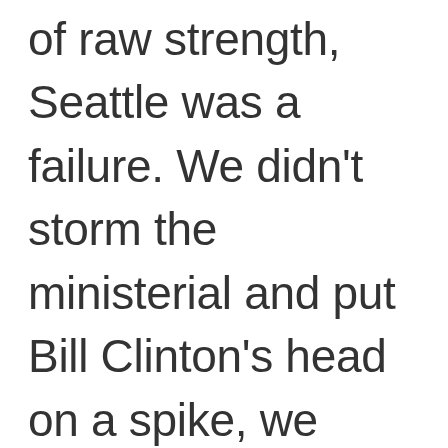of raw strength, Seattle was a failure. We didn't storm the ministerial and put Bill Clinton's head on a spike, we